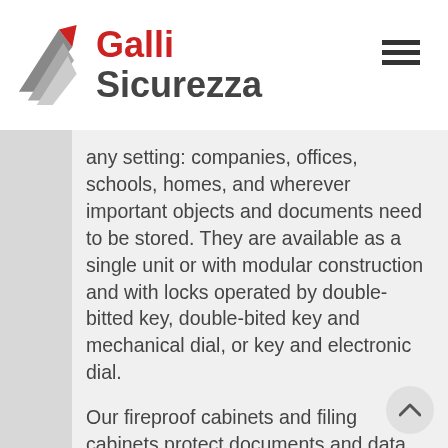[Figure (logo): Galli Sicurezza logo with a stylized arrow/wing graphic in gray and red, and bold red 'Galli' and dark gray 'Sicurezza' text]
any setting: companies, offices, schools, homes, and wherever important objects and documents need to be stored. They are available as a single unit or with modular construction and with locks operated by double-bitted key, double-bited key and mechanical dial, or key and electronic dial.
Our fireproof cabinets and filing cabinets protect documents and data storage media against fire for up to two hours.